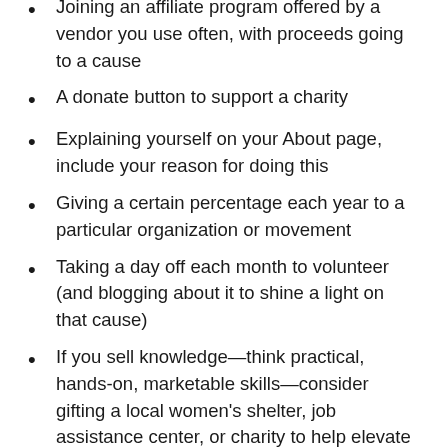Joining an affiliate program offered by a vendor you use often, with proceeds going to a cause
A donate button to support a charity
Explaining yourself on your About page, include your reason for doing this
Giving a certain percentage each year to a particular organization or movement
Taking a day off each month to volunteer (and blogging about it to shine a light on that cause)
If you sell knowledge—think practical, hands-on, marketable skills—consider gifting a local women's shelter, job assistance center, or charity to help elevate their clients.
Rather than using Fiverr for subcontractors,